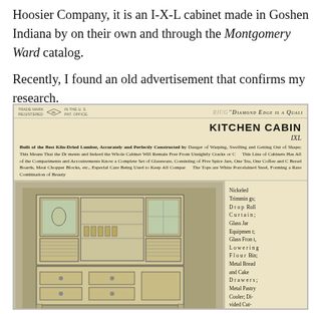Hoosier Company, it is an I-X-L cabinet made in Goshen Indiana by on their own and through the Montgomery Ward catalog.
Recently, I found an old advertisement that confirms my research.
[Figure (illustration): A vintage advertisement for an IXL Kitchen Cabinet. The ad header reads 'Diamond Edge is a Quali...' with a diamond logo and trade mark text. The main title reads 'KITCHEN CABIN... IXL'. Body text describes the cabinet as built of best kiln-dried lumber, with compartments, glassware including spice jars, tea, coffee jars, bread boards, meat chopper blocks, porcelained steel tops. Below is an illustration of the open kitchen cabinet showing shelves, glass front doors, flour bin, drawers, and compartments. To the right of the illustration is a list of features: Nickeled Trimmings; Drop Roll Curtain; Glass Jar Equipment; Glass Front, Lowering Flour Bin; Metal Bread and Cake Drawers; Metal Pastry Cooler; Divided Cutlery Drawer Over Base;]